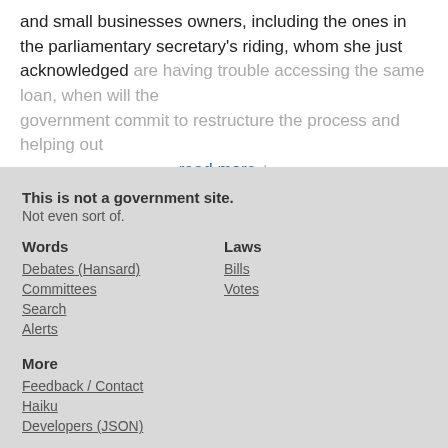and small businesses owners, including the ones in the parliamentary secretary's riding, whom she just acknowledged are having trouble accessing the same loan, when will the government commit to restructure the process and helping out
read more ↓
« Previous  14  Next »
This is not a government site. Not even sort of.
Words
Debates (Hansard)
Committees
Search
Alerts
Laws
Bills
Votes
More
Feedback / Contact
Haiku
Developers (JSON)